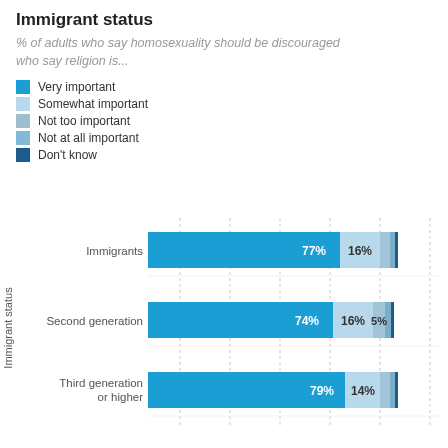Immigrant status
% of adults who say homosexuality should be discouraged who say religion is...
Very important
Somewhat important
Not too important
Not at all important
Don't know
[Figure (stacked-bar-chart): Immigrant status]